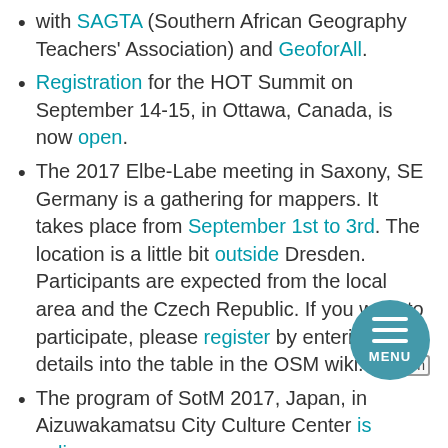with SAGTA (Southern African Geography Teachers' Association) and GeoforAll.
Registration for the HOT Summit on September 14-15, in Ottawa, Canada, is now open.
The 2017 Elbe-Labe meeting in Saxony, SE Germany is a gathering for mappers. It takes place from September 1st to 3rd. The location is a little bit outside Dresden. Participants are expected from the local area and the Czech Republic. If you want to participate, please register by entering the details into the table in the OSM wiki. [de] [en]
The program of SotM 2017, Japan, in Aizuwakamatsu City Culture Center is online.
Humanitarian OSM
On the talk mailing list, Micha? Brzozowski complained about some low quality changesets by new users in Nepal. The thread touches many